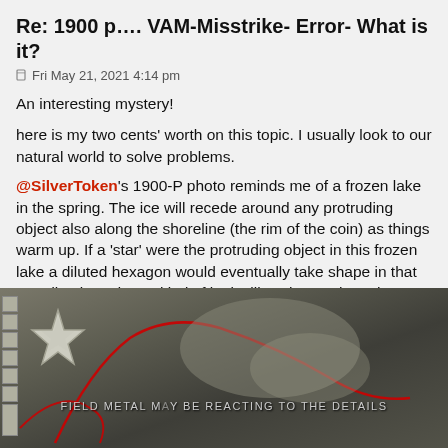Re: 1900 p…. VAM-Misstrike- Error- What is it?
Fri May 21, 2021 4:14 pm
An interesting mystery!
here is my two cents' worth on this topic. I usually look to our natural world to solve problems.
@SilverToken's 1900-P photo reminds me of a frozen lake in the spring. The ice will recede around any protruding object also along the shoreline (the rim of the coin) as things warm up. If a 'star' were the protruding object in this frozen lake a diluted hexagon would eventually take shape in that receding ice edge. It kind of looks like what we have here. I will attempt a illustration using SilverTokens photo:
[Figure (photo): Close-up photo of a coin surface showing metal field details with a star shape on the left and flowing metal patterns. Text overlay reads 'FIELD METAL MAY BE REACTING TO THE DETAILS'.]